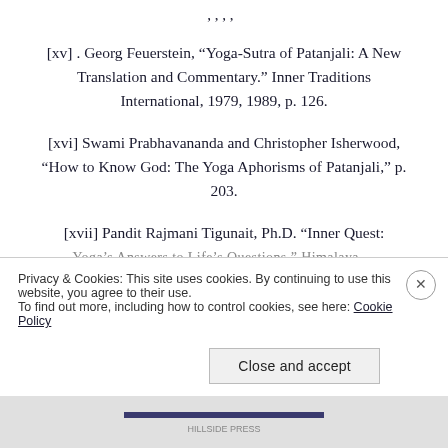[xv] . Georg Feuerstein, “Yoga-Sutra of Patanjali: A New Translation and Commentary.” Inner Traditions International, 1979, 1989, p. 126.
[xvi] Swami Prabhavananda and Christopher Isherwood, “How to Know God: The Yoga Aphorisms of Patanjali,” p. 203.
[xvii] Pandit Rajmani Tigunait, Ph.D. “Inner Quest: Yoga’s Answers to Life’s Questions.” Himalaya…
Privacy & Cookies: This site uses cookies. By continuing to use this website, you agree to their use.
To find out more, including how to control cookies, see here: Cookie Policy
Close and accept